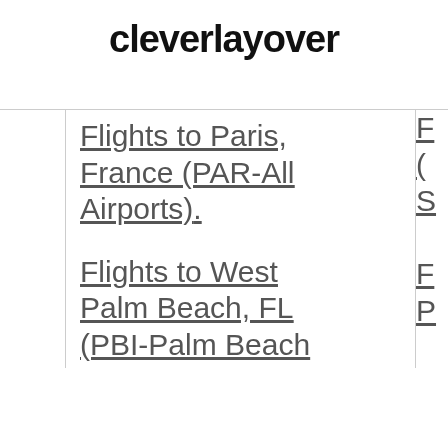cleverlayover
Flights to Paris, France (PAR-All Airports)
Flights to West Palm Beach, FL (PBI-Palm Beach